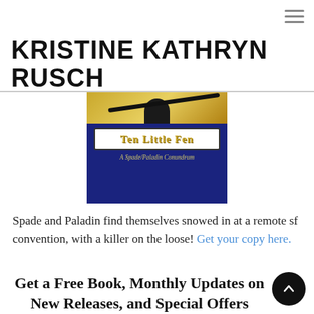☰ (hamburger menu icon)
KRISTINE KATHRYN RUSCH
[Figure (illustration): Book cover for 'Ten Little Fen: A Spade/Paladin Conundrum' — dark blue background with gold glitter top section, silhouette, white title box with gold serif text, and italic subtitle.]
Spade and Paladin find themselves snowed in at a remote sf convention, with a killer on the loose! Get your copy here.
Get a Free Book, Monthly Updates on New Releases, and Special Offers